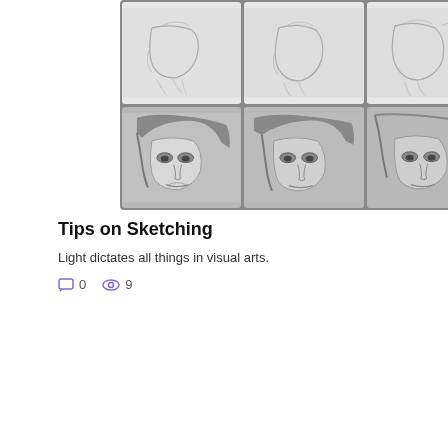[Figure (illustration): A 2x3 grid of pencil sketch images showing progressive stages of a portrait drawing - top row shows light contour sketches of a face/neck, bottom row shows more detailed portrait drawings of a woman's face]
Tips on Sketching
Light dictates all things in visual arts.
0   9
[Figure (illustration): A 2x2 grid of black and white close-up photographs showing lips/mouth drawing studies against a black background]